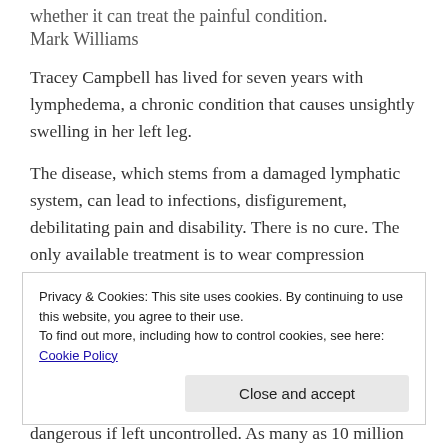whether it can treat the painful condition.
Mark Williams
Tracey Campbell has lived for seven years with lymphedema, a chronic condition that causes unsightly swelling in her left leg.
The disease, which stems from a damaged lymphatic system, can lead to infections, disfigurement, debilitating pain and disability. There is no cure. The only available treatment is to wear compression garments or use massage to suppress the swelling, which can occur throughout the body in some cases. Campbell — who had
Privacy & Cookies: This site uses cookies. By continuing to use this website, you agree to their use.
To find out more, including how to control cookies, see here: Cookie Policy
dangerous if left uncontrolled. As many as 10 million